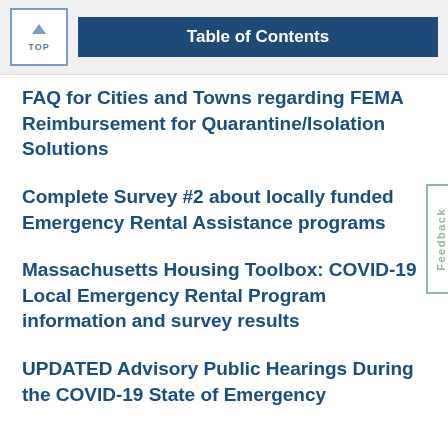TOP | Table of Contents
FAQ for Cities and Towns regarding FEMA Reimbursement for Quarantine/Isolation Solutions
Complete Survey #2 about locally funded Emergency Rental Assistance programs
Massachusetts Housing Toolbox: COVID-19 Local Emergency Rental Program information and survey results
UPDATED Advisory Public Hearings During the COVID-19 State of Emergency